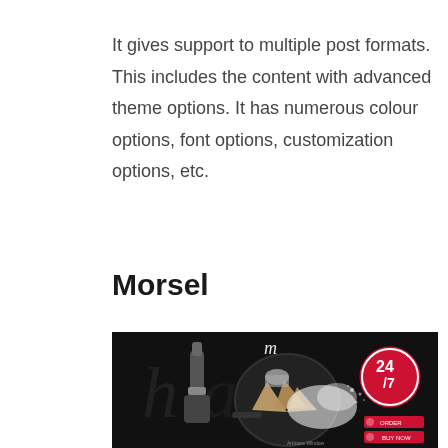It gives support to multiple post formats. This includes the content with advanced theme options. It has numerous colour options, font options, customization options, etc.
Morsel
[Figure (screenshot): Screenshot of the Morsel website theme showing a dark background with a frying pan containing food, a champagne bottle, scattered flour, a 24/7 logo badge, and UI elements including buy/order buttons and text 'Artisans Window']